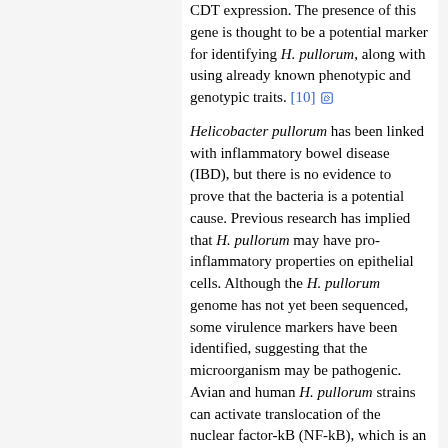CDT expression. The presence of this gene is thought to be a potential marker for identifying H. pullorum, along with using already known phenotypic and genotypic traits. [10]
Helicobacter pullorum has been linked with inflammatory bowel disease (IBD), but there is no evidence to prove that the bacteria is a potential cause. Previous research has implied that H. pullorum may have pro-inflammatory properties on epithelial cells. Although the H. pullorum genome has not yet been sequenced, some virulence markers have been identified, suggesting that the microorganism may be pathogenic. Avian and human H. pullorum strains can activate translocation of the nuclear factor-kB (NF-kB), which is an essential transcription factor in chronic inflammatory disease. NF-kB, once inside the cytoplasm of a cell, can move into the nucleus and regulate the expression of multiple target genes, such as interleukin 8 (IL8). A study done by Varon, et al aimed to establish whether H. pullorum is capable of having a direct effect on human intestinal epithelial cells in vitro. The study also